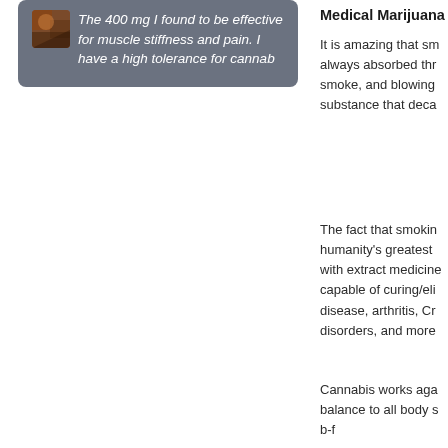The 400 mg I found to be effective for muscle stiffness and pain. I have a high tolerance for cannab
Medical Marijuana
It is amazing that sm... always absorbed thr... smoke, and blowing... substance that deca...
The fact that smokin... humanity's greatest... with extract medicine... capable of curing/eli... disease, arthritis, Cr... disorders, and more...
Cannabis works aga... balance to all body s... b-f...